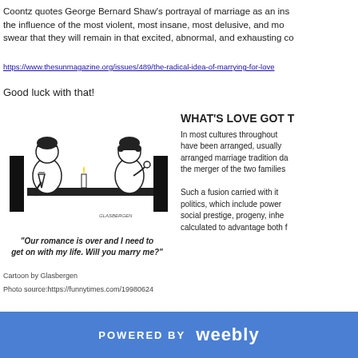Coontz quotes George Bernard Shaw's portrayal of marriage as an ins the influence of the most violent, most insane, most delusive, and mo swear that they will remain in that excited, abnormal, and exhausting co
https://www.thesunmagazine.org/issues/489/the-radical-idea-of-marrying-for-love
Good luck with that!
[Figure (illustration): Cartoon showing a man and woman sitting at a dinner table with a candle and wine glass, in black and white line art style. Signed 'GLASBERGEN'.]
"Our romance is over and I need to get on with my life. Will you marry me?"
Cartoon by Glasbergen
Photo source:https://funnytimes.com/19980624
WHAT'S LOVE GOT T
In most cultures throughout have been arranged, usually arranged marriage tradition da the merger of the two families
Such a fusion carried with it politics, which include power social prestige, progeny, inhe calculated to advantage both f
POWERED BY weebly